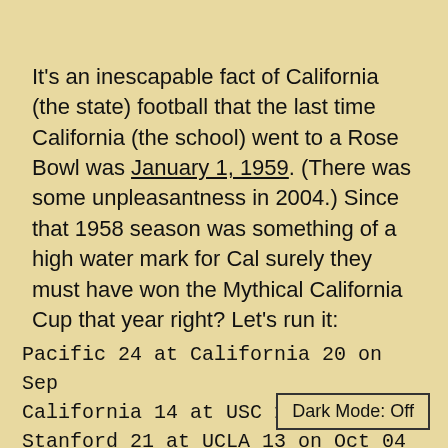It's an inescapable fact of California (the state) football that the last time California (the school) went to a Rose Bowl was January 1, 1959. (There was some unpleasantness in 2004.) Since that 1958 season was something of a high water mark for Cal surely they must have won the Mythical California Cup that year right? Let's run it:
Pacific 24 at California 20 on Sep
California 14 at USC 12 o
Stanford 21 at UCLA 13 on Oct 04 1